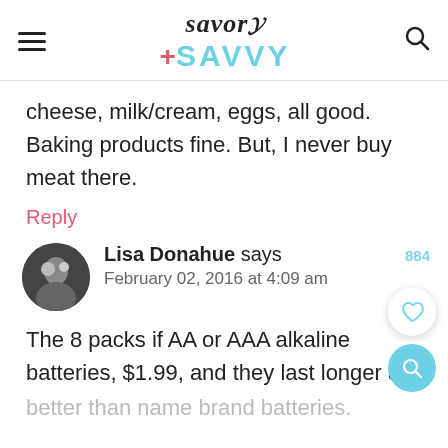[Figure (logo): Savor+Savvy website logo with hamburger menu and search icon]
cheese, milk/cream, eggs, all good. Baking products fine. But, I never buy meat there.
Reply
[Figure (photo): Avatar photo of Lisa Donahue]
Lisa Donahue says
February 02, 2016 at 4:09 am
The 8 packs if AA or AAA alkaline batteries, $1.99, and they last longer &
better than name brand batteries.